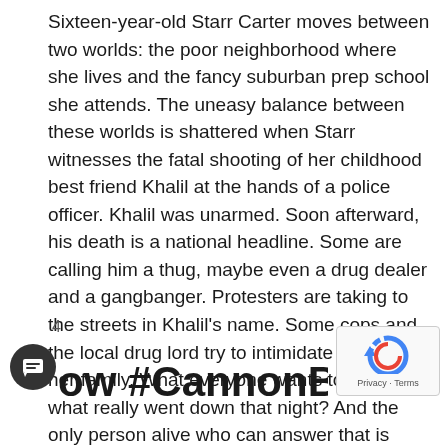Sixteen-year-old Starr Carter moves between two worlds: the poor neighborhood where she lives and the fancy suburban prep school she attends. The uneasy balance between these worlds is shattered when Starr witnesses the fatal shooting of her childhood best friend Khalil at the hands of a police officer. Khalil was unarmed. Soon afterward, his death is a national headline. Some are calling him a thug, maybe even a drug dealer and a gangbanger. Protesters are taking to the streets in Khalil's name. Some cops and the local drug lord try to intimidate Starr and her family. What everyone wants to know is: what really went down that night? And the only person alive who can answer that is Starr. But what Starr does—or does not—say could upend her community. It could also endanger her life.
4
ow #CannonBookClub